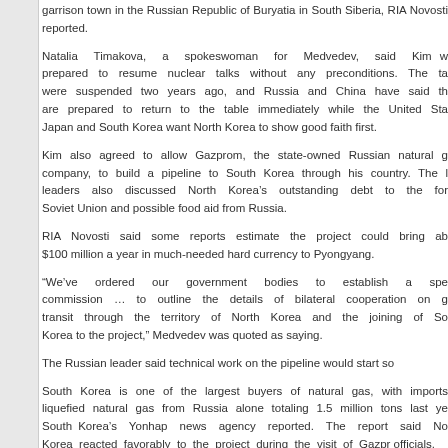garrison town in the Russian Republic of Buryatia in South Siberia, RIA Novosti reported.
Natalia Timakova, a spokeswoman for Medvedev, said Kim w prepared to resume nuclear talks without any preconditions. The ta were suspended two years ago, and Russia and China have said th are prepared to return to the table immediately while the United Sta Japan and South Korea want North Korea to show good faith first.
Kim also agreed to allow Gazprom, the state-owned Russian natural g company, to build a pipeline to South Korea through his country. The leaders also discussed North Korea’s outstanding debt to the for Soviet Union and possible food aid from Russia.
RIA Novosti said some reports estimate the project could bring ab $100 million a year in much-needed hard currency to Pyongyang.
“We’ve ordered our government bodies to establish a spe commission … to outline the details of bilateral cooperation on g transit through the territory of North Korea and the joining of So Korea to the project,” Medvedev was quoted as saying.
The Russian leader said technical work on the pipeline would start so
South Korea is one of the largest buyers of natural gas, with imports liquefied natural gas from Russia alone totaling 1.5 million tons last ye South Korea’s Yonhap news agency reported. The report said No Korea reacted favorably to the project during the visit of Gazpr officials.